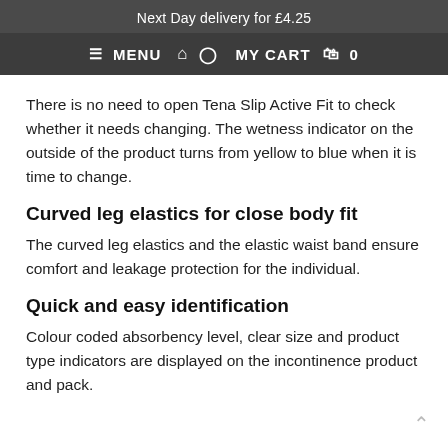Next Day delivery for £4.25
≡ MENU  🏠  👤  MY CART  🛍  0
There is no need to open Tena Slip Active Fit to check whether it needs changing. The wetness indicator on the outside of the product turns from yellow to blue when it is time to change.
Curved leg elastics for close body fit
The curved leg elastics and the elastic waist band ensure comfort and leakage protection for the individual.
Quick and easy identification
Colour coded absorbency level, clear size and product type indicators are displayed on the incontinence product and pack.